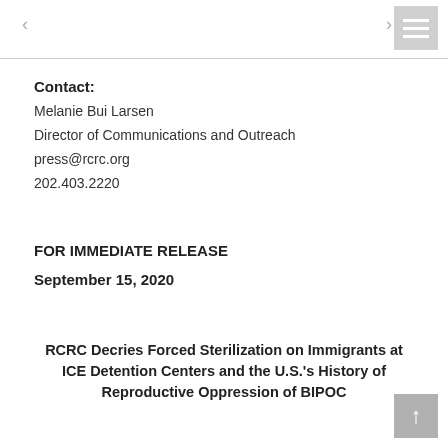< >
Contact:
Melanie Bui Larsen
Director of Communications and Outreach
press@rcrc.org
202.403.2220
FOR IMMEDIATE RELEASE
September 15, 2020
RCRC Decries Forced Sterilization on Immigrants at ICE Detention Centers and the U.S.'s History of Reproductive Oppression of BIPOC